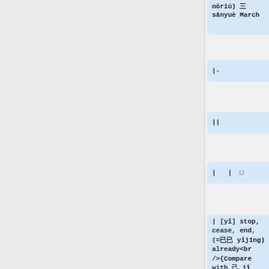sānyuè March
|-
||
|  |  □
| [yǐ] stop, cease, end, (=已 yǐjīng) already<br/>{Compare with 己 jǐ self, which is "open" on the left side}
|-
||